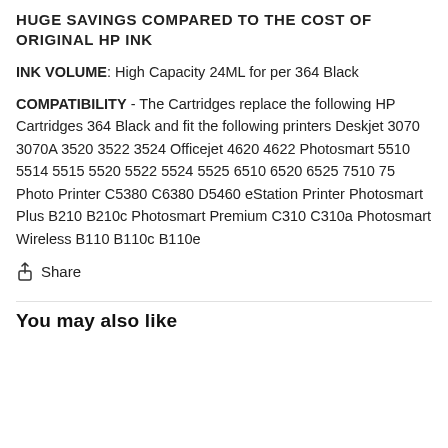HUGE SAVINGS COMPARED TO THE COST OF ORIGINAL HP INK
INK VOLUME: High Capacity 24ML for per 364 Black
COMPATIBILITY - The Cartridges replace the following HP Cartridges 364 Black and fit the following printers Deskjet 3070 3070A 3520 3522 3524 Officejet 4620 4622 Photosmart 5510 5514 5515 5520 5522 5524 5525 6510 6520 6525 7510 75 Photo Printer C5380 C6380 D5460 eStation Printer Photosmart Plus B210 B210c Photosmart Premium C310 C310a Photosmart Wireless B110 B110c B110e
Share
You may also like